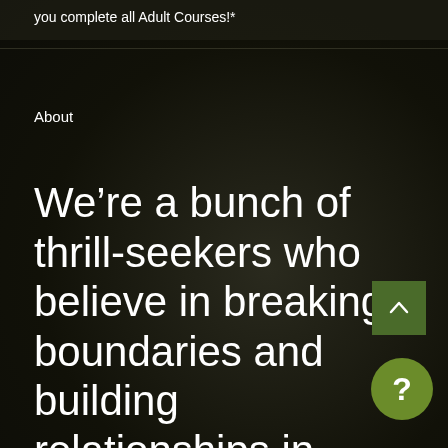you complete all Adult Courses!*
About
We’re a bunch of thrill-seekers who believe in breaking boundaries and building relationships in challenging environments